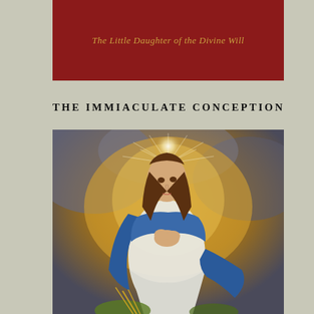The Little Daughter of the Divine Will
THE IMMIACULATE CONCEPTION
[Figure (illustration): Classical oil painting of the Immaculate Conception depicting the Virgin Mary in white robes with a blue mantle, long brown hair, hands clasped to chest, looking upward with a radiant halo of light, ascending against a golden and grey clouded background, with foliage at the bottom.]